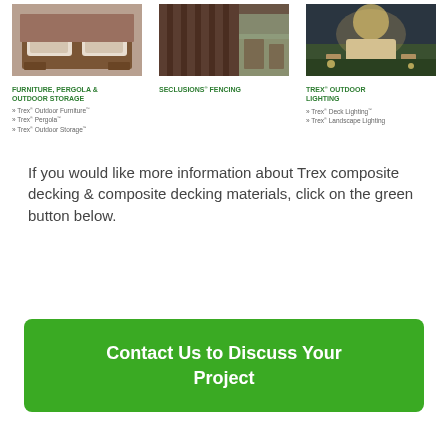[Figure (photo): Photo of outdoor furniture with cushions and deck storage in brown composite material]
FURNITURE, PERGOLA & OUTDOOR STORAGE
Trex® Outdoor Furniture™
Trex® Pergola™
Trex® Outdoor Storage™
[Figure (photo): Photo of Seclusions fencing with dark brown fence panels and outdoor seating]
SECLUSIONS® FENCING
[Figure (photo): Photo of a home exterior at night with outdoor lighting illuminating deck and landscaping]
TREX® OUTDOOR LIGHTING
Trex® Deck Lighting™
Trex® Landscape Lighting
If you would like more information about Trex composite decking & composite decking materials, click on the green button below.
Contact Us to Discuss Your Project